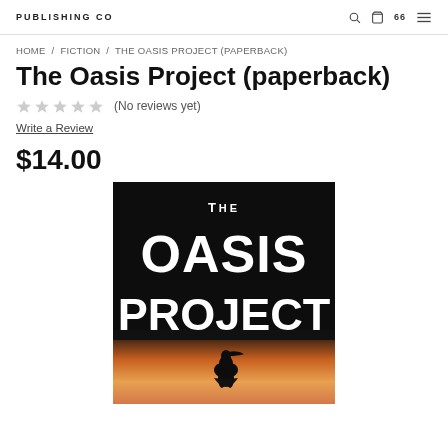PUBLISHING CO
HOME / FICTION / THE OASIS PROJECT (PAPERBACK)
The Oasis Project (paperback)
★★★★★ (No reviews yet)
Write a Review
$14.00
[Figure (illustration): Book cover for 'The Oasis Project' with a dark background, large bold white text reading 'THE OASIS PROJECT', and a silhouette of a pelican bird against a warm sunset/sunrise gradient at the bottom.]